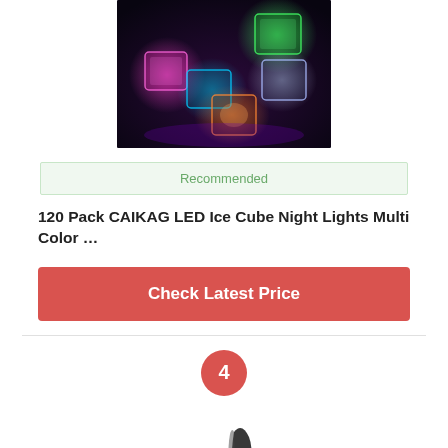[Figure (photo): Photo of LED glowing ice cubes in multiple colors (pink, green, teal, orange) on a dark background]
Recommended
120 Pack CAIKAG LED Ice Cube Night Lights Multi Color …
Check Latest Price
4
[Figure (photo): Partial photo of a product, appears to be a dark object on white background]